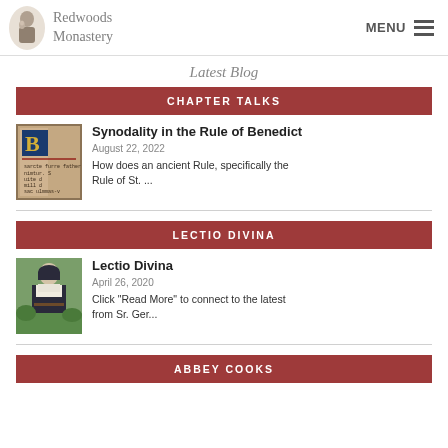Redwoods Monastery | MENU
Latest Blog
CHAPTER TALKS
[Figure (photo): Illuminated manuscript initial letter thumbnail]
Synodality in the Rule of Benedict
August 22, 2022
How does an ancient Rule, specifically the Rule of St. ...
LECTIO DIVINA
[Figure (photo): Photo of a nun in traditional habit]
Lectio Divina
April 26, 2020
Click "Read More" to connect to the latest from Sr. Ger...
ABBEY COOKS